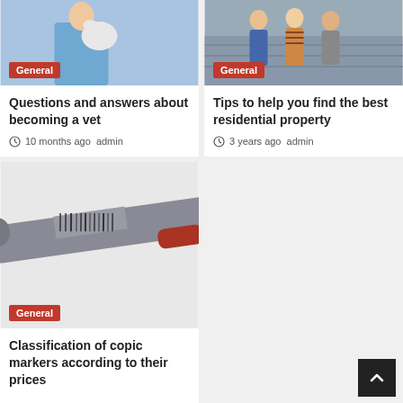[Figure (photo): Person in blue scrubs holding a white cat/animal, veterinary context]
[Figure (photo): Group of people standing together, residential property context]
Questions and answers about becoming a vet
10 months ago  admin
Tips to help you find the best residential property
3 years ago  admin
[Figure (photo): Close-up of a Copic marker pen with gray body and red tip, barcode visible]
Classification of copic markers according to their prices